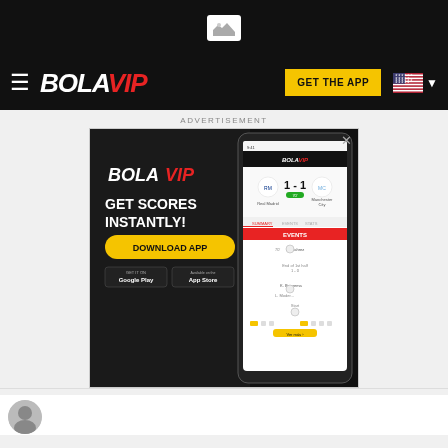[Figure (screenshot): Top black banner with small image/photo icon centered]
[Figure (logo): BOLAVIP navigation bar with hamburger menu, BOLAVIP logo in white and red, GET THE APP yellow button, and US flag dropdown]
ADVERTISEMENT
[Figure (screenshot): BOLAVIP app advertisement banner showing 'GET SCORES INSTANTLY!' with DOWNLOAD APP button, Google Play and App Store badges, and a phone mockup displaying Real Madrid 1-1 Manchester City match score with events timeline]
[Figure (photo): Circular author avatar photo at bottom left corner]